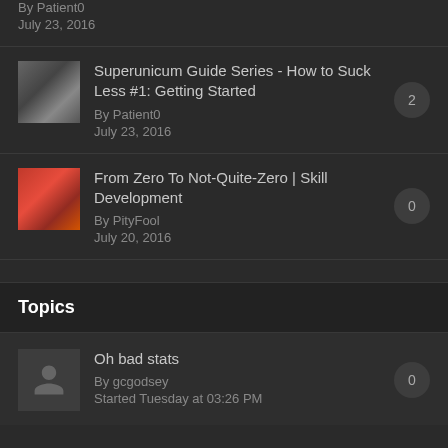By Patient0
July 23, 2016
Superunicum Guide Series - How to Suck Less #1: Getting Started
By Patient0
July 23, 2016
From Zero To Not-Quite-Zero | Skill Development
By PityFool
July 20, 2016
Topics
Oh bad stats
By gcgodsey
Started Tuesday at 03:26 PM